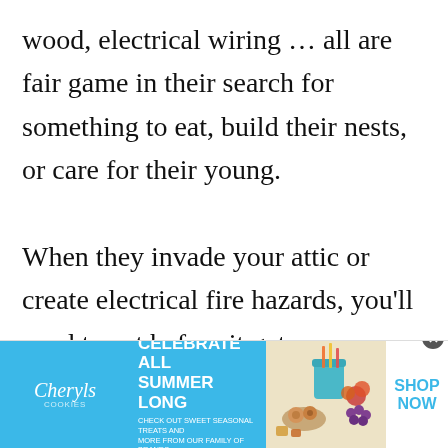wood, electrical wiring … all are fair game in their search for something to eat, build their nests, or care for their young.

When they invade your attic or create electrical fire hazards, you'll need to act before it gets worse. Fortunately, there are many humane ways to stop or limit the
[Figure (infographic): Advertisement banner for Cheryl's Cookies: 'Celebrate All Summer Long – Check out sweet seasonal treats and more from our family of brands.' Features the Cheryl's Cookies logo, a food photo showing cookies and summer treats, and a 'Shop Now' call-to-action button in blue.]